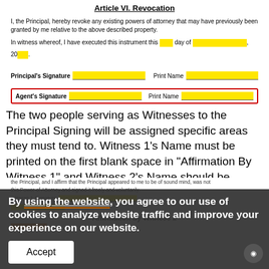Article VI. Revocation
I, the Principal, hereby revoke any existing powers of attorney that may have previously been granted by me relative to the above described property.
In witness whereof, I have executed this instrument this ___ day of _______________, 20___.
Principal's Signature [fill] Print Name [fill]
Agent's Signature [fill] Print Name [fill]
The two people serving as Witnesses to the Principal Signing will be assigned specific areas they must tend to. Witness 1's Name must be printed on the first blank space in “Affirmation By Witness 1” and Witness 2’s Name should be printed on the first blank space in “Affirmation By Witness 2.”
Affirmation by Witness 1
the Principal, and I affirm that the Principal appeared to me to be of sound mind, was not this Power of Attorney and signed it freely and voluntarily.
Witness 1 Signature [fill]
Affirmation by Witness 2
By using the website, you agree to our use of cookies to analyze website traffic and improve your experience on our website.